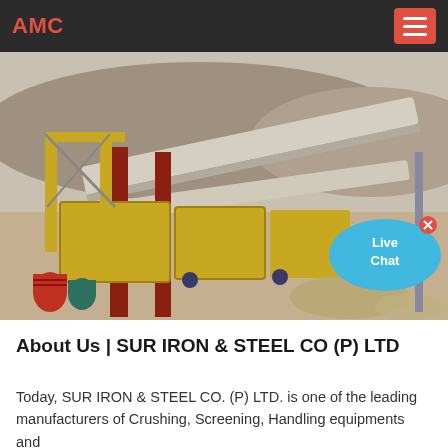AMC
[Figure (photo): Outdoor industrial scene showing crushing and screening equipment — yellow metal structures, conveyor belts, red steel columns, and various machinery on a sandy/rocky construction site with hills in the background. A 'Live Chat' speech bubble overlay appears in the lower right of the image.]
About Us | SUR IRON & STEEL CO (P) LTD
Today, SUR IRON & STEEL CO. (P) LTD. is one of the leading manufacturers of Crushing, Screening, Handling equipments and